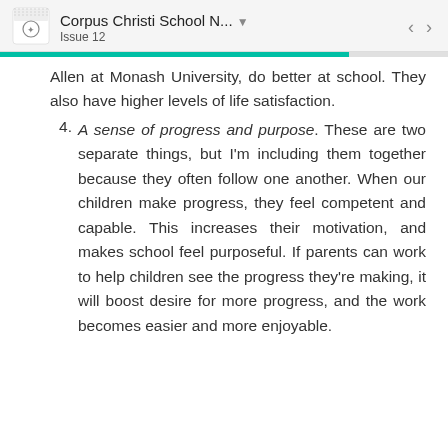Corpus Christi School N... Issue 12
Allen at Monash University, do better at school. They also have higher levels of life satisfaction.
4. A sense of progress and purpose. These are two separate things, but I'm including them together because they often follow one another. When our children make progress, they feel competent and capable. This increases their motivation, and makes school feel purposeful. If parents can work to help children see the progress they're making, it will boost desire for more progress, and the work becomes easier and more enjoyable.